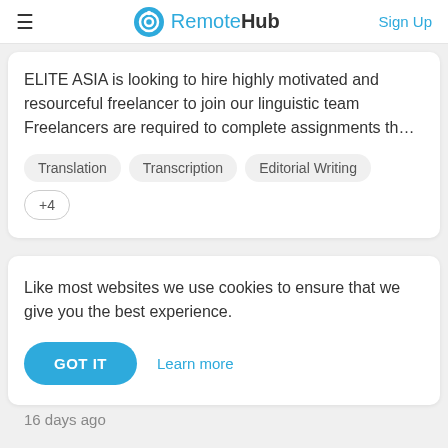RemoteHub  Sign Up
ELITE ASIA is looking to hire highly motivated and resourceful freelancer to join our linguistic team Freelancers are required to complete assignments th…
Translation
Transcription
Editorial Writing
+4
Like most websites we use cookies to ensure that we give you the best experience.
GOT IT   Learn more
16 days ago